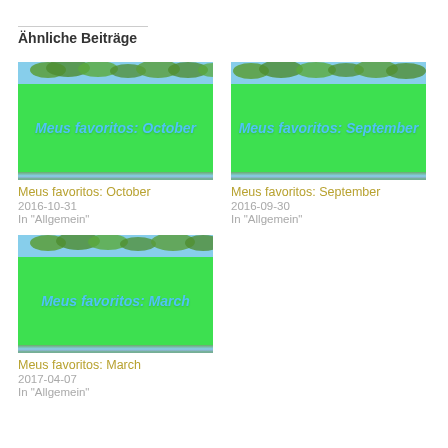Ähnliche Beiträge
[Figure (photo): Thumbnail image for Meus favoritos: October blog post, showing green overlay with blue text on palm tree background]
Meus favoritos: October
2016-10-31
In "Allgemein"
[Figure (photo): Thumbnail image for Meus favoritos: September blog post, showing green overlay with blue text on palm tree background]
Meus favoritos: September
2016-09-30
In "Allgemein"
[Figure (photo): Thumbnail image for Meus favoritos: March blog post, showing green overlay with blue text on palm tree background]
Meus favoritos: March
2017-04-07
In "Allgemein"